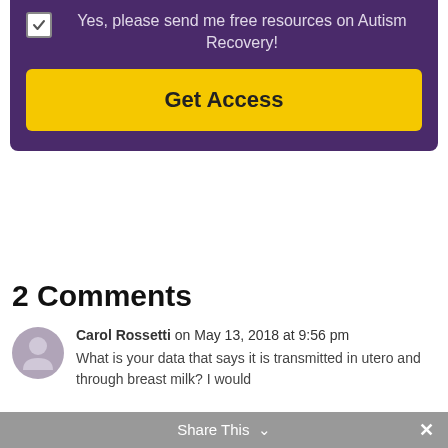[Figure (screenshot): Purple signup box with checkbox and Get Access button. Checkbox is checked. Label reads: Yes, please send me free resources on Autism Recovery!]
2 Comments
Carol Rossetti on May 13, 2018 at 9:56 pm
What is your data that says it is transmitted in utero and through breast milk? I would
Share This ∨  ×